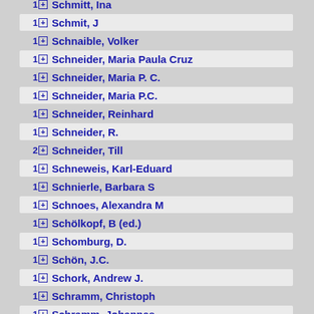1 Schmit, J
1 Schnaible, Volker
1 Schneider, Maria Paula Cruz
1 Schneider, Maria P. C.
1 Schneider, Maria P.C.
1 Schneider, Reinhard
1 Schneider, R.
2 Schneider, Till
1 Schneweis, Karl-Eduard
1 Schnierle, Barbara S
1 Schnoes, Alexandra M
1 Schölkopf, B (ed.)
1 Schomburg, D.
1 Schön, J.C.
1 Schork, Andrew J.
1 Schramm, Christoph
1 Schramm, Johannes
1 Schrappe, Martin
1 Schreiber, Falk
16 Schreiber, Stefan
1 Schrumpf, Erik